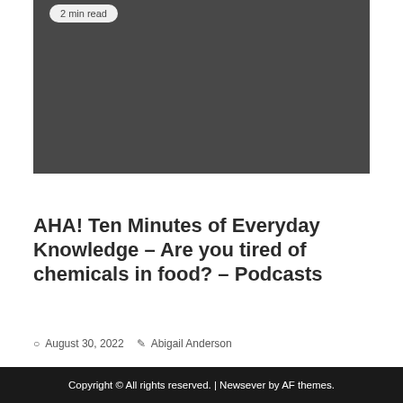[Figure (photo): Dark gray/charcoal colored image placeholder area with a '2 min read' badge at the top left]
SCIENCE
AHA! Ten Minutes of Everyday Knowledge – Are you tired of chemicals in food? – Podcasts
August 30, 2022   Abigail Anderson
Copyright © All rights reserved. | Newsever by AF themes.